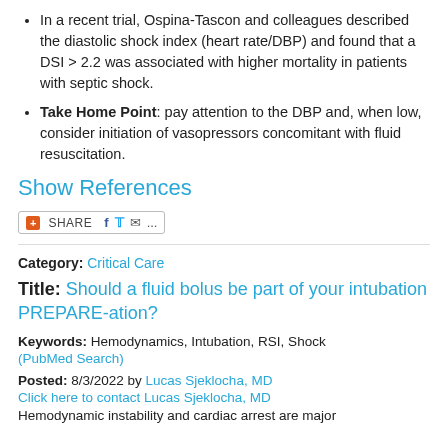In a recent trial, Ospina-Tascon and colleagues described the diastolic shock index (heart rate/DBP) and found that a DSI > 2.2 was associated with higher mortality in patients with septic shock.
Take Home Point: pay attention to the DBP and, when low, consider initiation of vasopressors concomitant with fluid resuscitation.
Show References
[Figure (other): Share bar with SHARE button and social media icons (Facebook, Twitter, Email, more)]
Category: Critical Care
Title: Should a fluid bolus be part of your intubation PREPARE-ation?
Keywords: Hemodynamics, Intubation, RSI, Shock
(PubMed Search)
Posted: 8/3/2022 by Lucas Sjeklocha, MD
Click here to contact Lucas Sjeklocha, MD
Hemodynamic instability and cardiac arrest are major